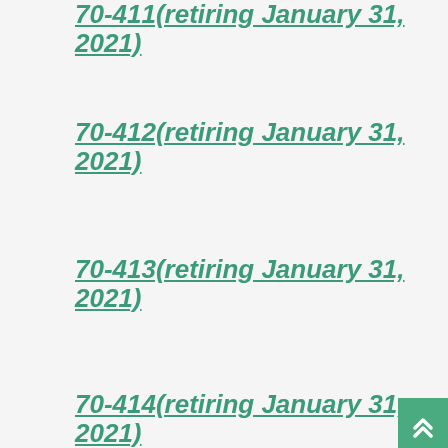70-411(retiring January 31, 2021)
70-412(retiring January 31, 2021)
70-413(retiring January 31, 2021)
70-414(retiring January 31, 2021)
70-417(retiring January 31, 2021)
70-461(retiring January 31, 2021)
70-462(retiring January 31, 2021)
70-463(retiring January 31, 2021)